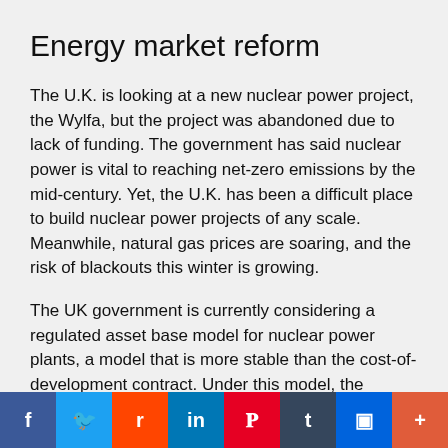Energy market reform
The U.K. is looking at a new nuclear power project, the Wylfa, but the project was abandoned due to lack of funding. The government has said nuclear power is vital to reaching net-zero emissions by the mid-century. Yet, the U.K. has been a difficult place to build nuclear power projects of any scale. Meanwhile, natural gas prices are soaring, and the risk of blackouts this winter is growing.
The UK government is currently considering a regulated asset base model for nuclear power plants, a model that is more stable than the cost-of-development contract. Under this model, the operator of a nuclear power station is guaranteed regulated rates that cover the costs of developing the plant and collecting authorised returns on the asset's value. This approach protects the operator of